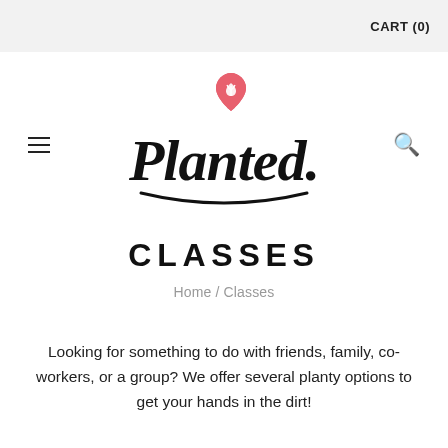CART (0)
[Figure (logo): Planted logo: handwritten script text 'Planted.' with a pink heart-shaped plant pin icon above the P]
CLASSES
Home / Classes
Looking for something to do with friends, family, co-workers, or a group? We offer several planty options to get your hands in the dirt!